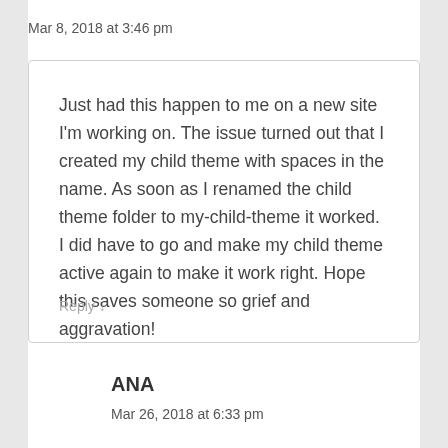Mar 8, 2018 at 3:46 pm
Just had this happen to me on a new site I'm working on. The issue turned out that I created my child theme with spaces in the name. As soon as I renamed the child theme folder to my-child-theme it worked. I did have to go and make my child theme active again to make it work right. Hope this saves someone so grief and aggravation!
Reply
ANA
Mar 26, 2018 at 6:33 pm